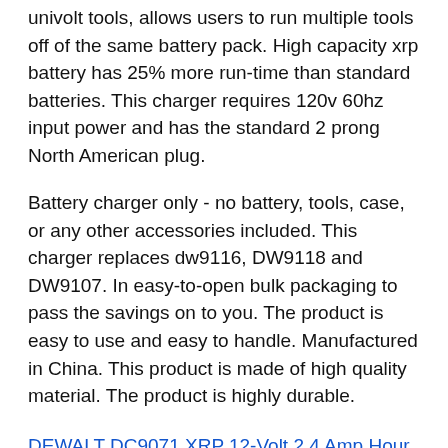univolt tools, allows users to run multiple tools off of the same battery pack. High capacity xrp battery has 25% more run-time than standard batteries. This charger requires 120v 60hz input power and has the standard 2 prong North American plug.
Battery charger only - no battery, tools, case, or any other accessories included. This charger replaces dw9116, DW9118 and DW9107. In easy-to-open bulk packaging to pass the savings on to you. The product is easy to use and easy to handle. Manufactured in China. This product is made of high quality material. The product is highly durable.
DEWALT DC9071 XRP 12-Volt 2.4 Amp Hour NiCd Battery #ad - Allows users to run multiple tools off of